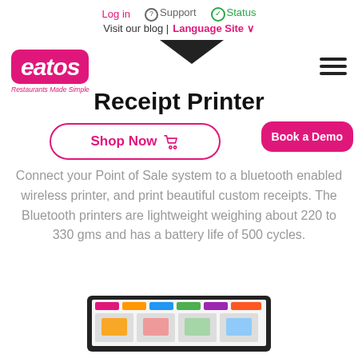Log in | Support | Status | Visit our blog | Language Site
[Figure (logo): eatos logo - pink rounded rectangle with white italic text 'eatos' and tagline 'Restaurants Made Simple']
Receipt Printer
Shop Now (cart icon)
Book a Demo
Connect your Point of Sale system to a bluetooth enabled wireless printer, and print beautiful custom receipts. The Bluetooth printers are lightweight weighing about 220 to 330 gms and has a battery life of 500 cycles.
[Figure (screenshot): Tablet device showing eatos POS interface with colorful food menu items]